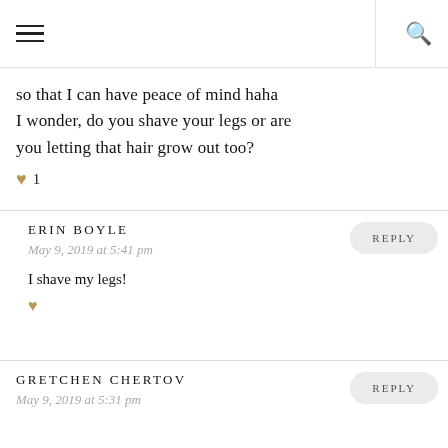Navigation header with hamburger menu and search icon
so that I can have peace of mind haha I wonder, do you shave your legs or are you letting that hair grow out too?
♥ 1
ERIN BOYLE
May 9, 2019 at 5:41 pm
I shave my legs!
GRETCHEN CHERTOV
May 9, 2019 at 5:31 pm